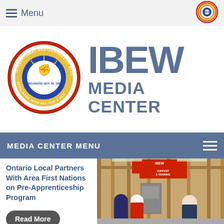Menu
[Figure (logo): IBEW International Brotherhood of Electrical Workers circular seal logo]
[Figure (logo): Small circular IBEW seal logo in top right navigation]
IBEW MEDIA CENTER
MEDIA CENTER MENU
Ontario Local Partners With Area First Nations on Pre-Apprenticeship Program
Read More
[Figure (photo): Workers in a construction training centre with IBEW banner and Milwaukee support and training centre sign visible]